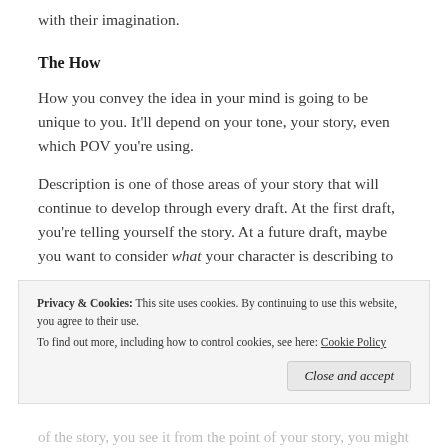with their imagination.
The How
How you convey the idea in your mind is going to be unique to you. It'll depend on your tone, your story, even which POV you're using.
Description is one of those areas of your story that will continue to develop through every draft. At the first draft, you're telling yourself the story. At a future draft, maybe you want to consider what your character is describing to
Privacy & Cookies: This site uses cookies. By continuing to use this website, you agree to their use.
To find out more, including how to control cookies, see here: Cookie Policy
Close and accept
of the story, you see it from the point of your story, you might